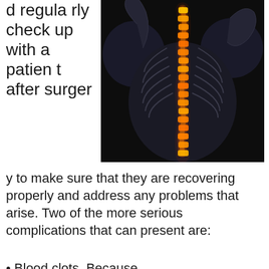d regularly check up with a patient after surgery to make sure that they are recovering properly and address any problems that arise. Two of the more serious complications that can present are:
[Figure (illustration): Medical illustration of a human back/spine with glowing orange highlighted spine against dark background, showing skeletal structure]
Blood clots. Because